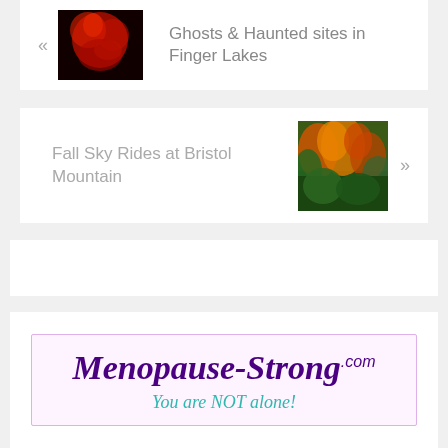[Figure (photo): Dark image with red glowing clusters, thumbnail for 'Ghosts & Haunted sites in Finger Lakes']
« Ghosts & Haunted sites in Finger Lakes
Fall Sky Rides at Bristol Mountain »
[Figure (photo): Autumn foliage on hillside with orange, red, and green trees]
[Figure (other): Empty white card/ad placeholder]
[Figure (infographic): Advertisement banner for Menopause-Strong.com with tagline 'You are NOT alone!']